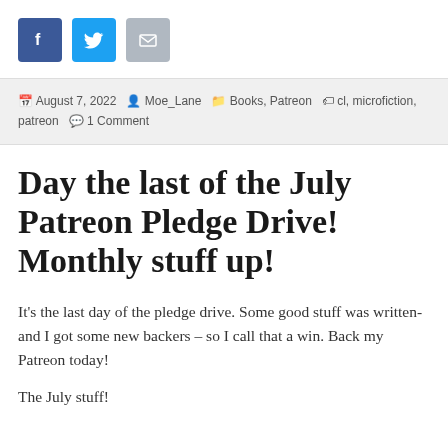[Figure (infographic): Three social sharing icons: Facebook (dark blue), Twitter (light blue), Email (grey)]
August 7, 2022  Moe_Lane  Books, Patreon  cl, microfiction, patreon  1 Comment
Day the last of the July Patreon Pledge Drive! Monthly stuff up!
It's the last day of the pledge drive. Some good stuff was written- and I got some new backers – so I call that a win. Back my Patreon today!
The July stuff!